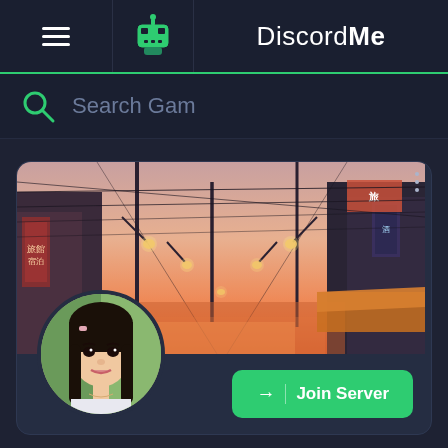DiscordMe
Search Gam
[Figure (screenshot): Discord Me server listing card showing an anime-style Japanese street scene at sunset as the banner image, with a profile photo of a young Asian woman as the server avatar, and a green Join Server button.]